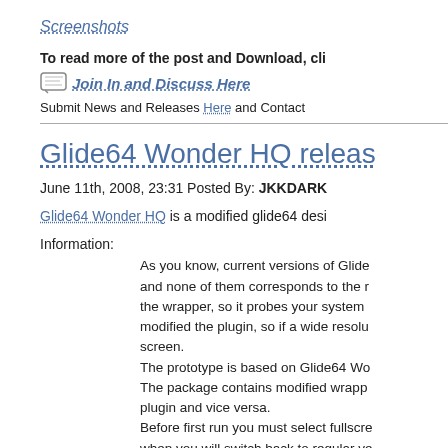Screenshots
To read more of the post and Download, cli
Join In and Discuss Here
Submit News and Releases Here and Contact
Glide64 Wonder HQ releas
June 11th, 2008, 23:31 Posted By: JKKDARK
Glide64 Wonder HQ is a modified glide64 desi
Information:
As you know, current versions of Glide and none of them corresponds to the r the wrapper, so it probes your system modified the plugin, so if a wide resolu screen.
The prototype is based on Glide64 Wo The package contains modified wrapp plugin and vice versa.
Before first run you must select fullscre when you will switch back to regular ve We need feedback from our users with WonderPlus HQ version (http://www.e
Download and give feedback via comments